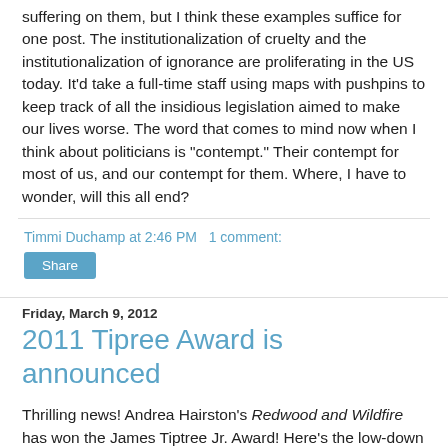suffering on them, but I think these examples suffice for one post. The institutionalization of cruelty and the institutionalization of ignorance are proliferating in the US today. It'd take a full-time staff using maps with pushpins to keep track of all the insidious legislation aimed to make our lives worse. The word that comes to mind now when I think about politicians is "contempt." Their contempt for most of us, and our contempt for them. Where, I have to wonder, will this all end?
Timmi Duchamp at 2:46 PM   1 comment:
Share
Friday, March 9, 2012
2011 Tipree Award is announced
Thrilling news! Andrea Hairston's Redwood and Wildfire has won the James Tiptree Jr. Award! Here's the low-down from the James Tiptree Jr. Award website: